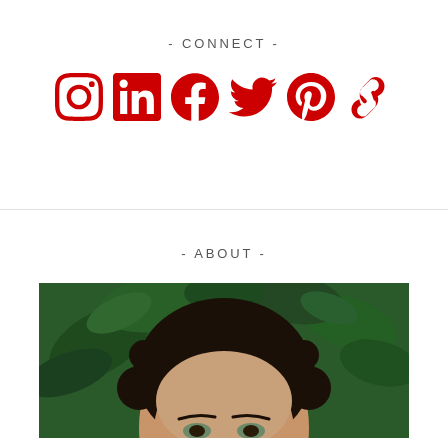- CONNECT -
[Figure (infographic): Six red social media icons in a row: Instagram, LinkedIn, Facebook, Twitter/X, Pinterest, and a chain/link icon]
- ABOUT -
[Figure (photo): Close-up portrait photo of a woman with curly dark hair against a green leafy background, cropped at the eyes/forehead level]